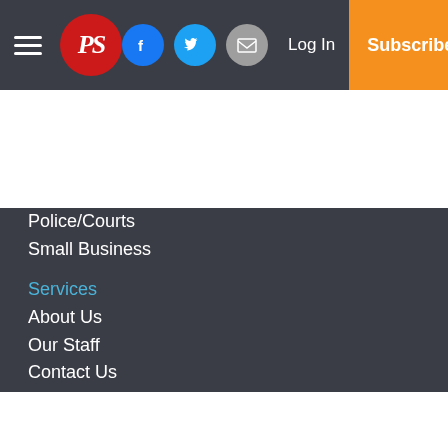PS [logo] | Facebook | Twitter | Email | Log In | Subscribe
Police/Courts
Small Business
Services
About Us
Our Staff
Contact Us
Commercial Printing
Subscribe
Advertise with Us
Classified Advertising
News Tip Form
Birth Announcement Form
Engagement Form
Wedding Form
Submission Form...